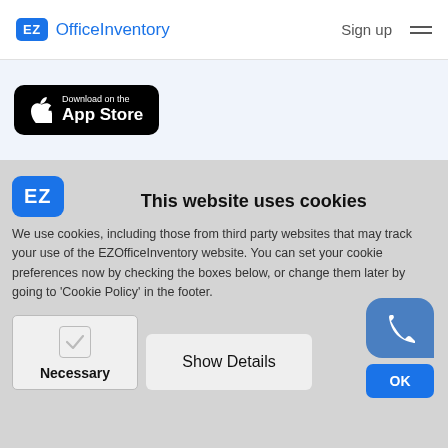EZ OfficeInventory   Sign up ☰
[Figure (screenshot): Download on the App Store button (black rounded rectangle with Apple logo)]
[Figure (logo): EZ badge logo in blue square]
This website uses cookies
We use cookies, including those from third party websites that may track your use of the EZOfficeInventory website. You can set your cookie preferences now by checking the boxes below, or change them later by going to 'Cookie Policy' in the footer.
Necessary
Show Details
OK